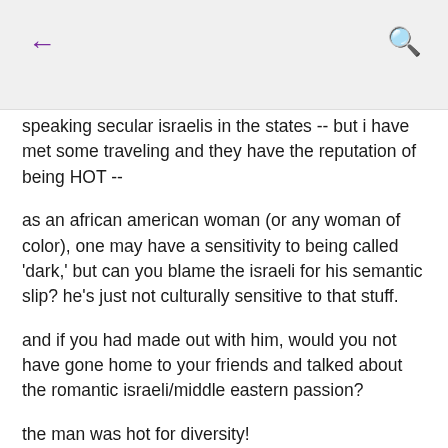← (back) | (search icon)
speaking secular israelis in the states -- but i have met some traveling and they have the reputation of being HOT --
as an african american woman (or any woman of color), one may have a sensitivity to being called 'dark,' but can you blame the israeli for his semantic slip? he's just not culturally sensitive to that stuff.
and if you had made out with him, would you not have gone home to your friends and talked about the romantic israeli/middle eastern passion?
the man was hot for diversity!
ps. i had a fling with a hot israeli in thailand once - all i can say is girl, you missed out! ;)
pps. when you are talking about the lust generated upon meeting someone attractive